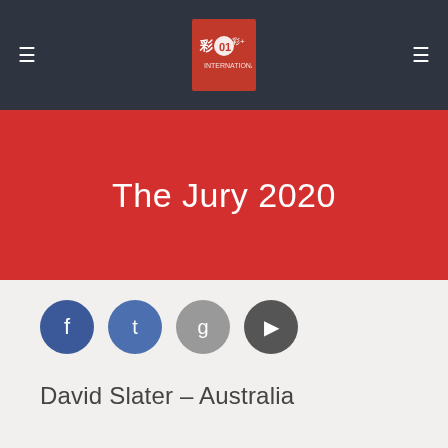The Jury 2020
[Figure (other): Four social media icon circles: Facebook (dark blue), Twitter (medium blue), Google+ (grey), YouTube (dark grey)]
David Slater – Australia